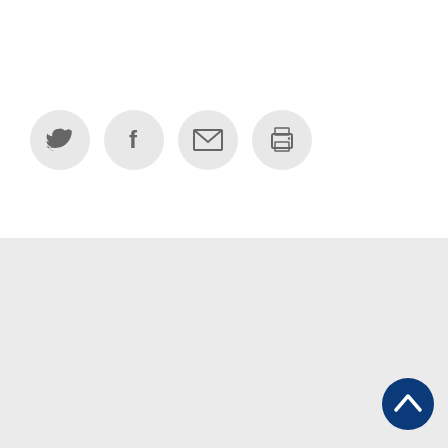[Figure (infographic): Four social/share icon buttons in grey circles: Twitter bird, Facebook f, email envelope, print printer]
[Figure (logo): Finnish Ministry of Foreign Affairs blue globe logo with white lion crest]
Utrikesministeriet
Sjöekipaget, PB 176
00023 Statsrådet
Finland
Statsrådets växel 0295 16001
kirjaamo.um@formin.fi